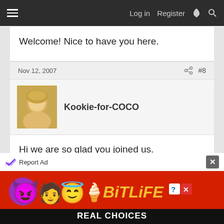Log in  Register
Welcome! Nice to have you here.
Nov 12, 2007  #8
Kookie-for-COCO
Hi we are so glad you joined us.
Nov 12, 2007  #9
RachaelMarie
[Figure (illustration): Advertisement banner for BitLife game with emoji characters on red background, text reads REAL CHOICES]